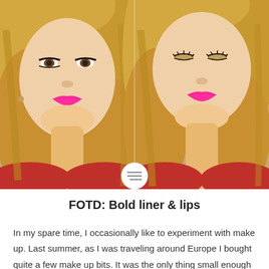[Figure (photo): Two side-by-side photos of a blonde woman wearing bright pink/fuchsia lipstick. Left photo shows her face looking forward with bold eye liner and bright pink lips. Right photo shows the same woman with eyes cast downward, same pink lipstick. A white circle with a menu/lines icon sits at the bottom center between the two photos.]
FOTD: Bold liner & lips
In my spare time, I occasionally like to experiment with make up. Last summer, as I was traveling around Europe I bought quite a few make up bits. It was the only thing small enough to fit in my bag and so I stocked up majorly. I